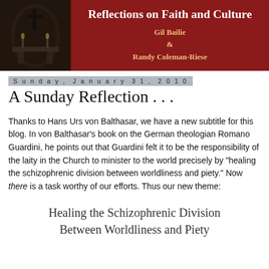[Figure (photo): Header banner with dark church interior photo on the left and dark red background with blog title and author names on the right]
Sunday, January 31, 2010
A Sunday Reflection . . .
Thanks to Hans Urs von Balthasar, we have a new subtitle for this blog. In von Balthasar's book on the German theologian Romano Guardini, he points out that Guardini felt it to be the responsibility of the laity in the Church to minister to the world precisely by "healing the schizophrenic division between worldliness and piety." Now there is a task worthy of our efforts. Thus our new theme:
Healing the Schizophrenic Division Between Worldliness and Piety